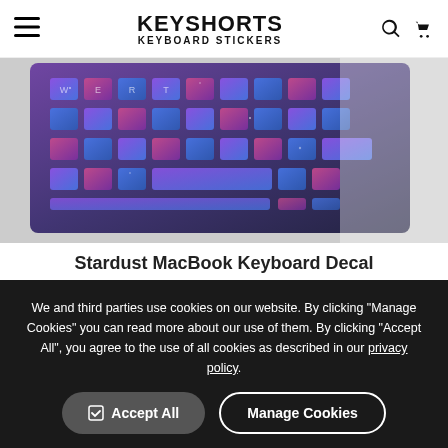KEYSHORTS KEYBOARD STICKERS
[Figure (photo): Close-up photo of a MacBook keyboard with galaxy/stardust themed keyboard stickers applied, showing colorful space-themed decals on each key.]
Stardust MacBook Keyboard Decal
Precisely fits your keyboard + all keys included
Unlimited language choice
Made to order exactly for you
We and third parties use cookies on our website. By clicking "Manage Cookies" you can read more about our use of them. By clicking "Accept All", you agree to the use of all cookies as described in our privacy policy.
Accept All | Manage Cookies